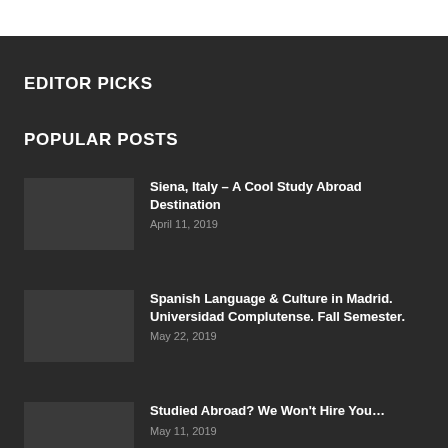EDITOR PICKS
POPULAR POSTS
Siena, Italy – A Cool Study Abroad Destination
April 11, 2019
Spanish Language & Culture in Madrid. Universidad Complutense. Fall Semester.
May 22, 2019
Studied Abroad? We Won't Hire You…
May 11, 2019